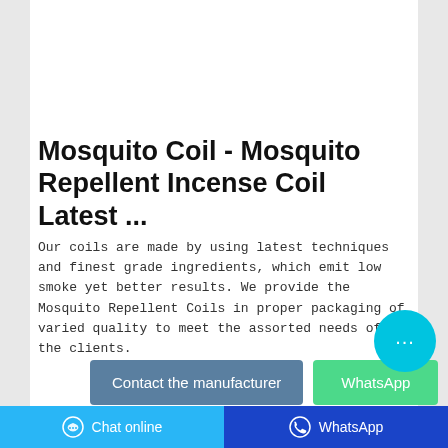[Figure (photo): Product photo of a mosquito coil package — yellow box with black spiral coil design on white background]
Mosquito Coil - Mosquito Repellent Incense Coil Latest ...
Our coils are made by using latest techniques and finest grade ingredients, which emit low smoke yet better results. We provide the Mosquito Repellent Coils in proper packaging of varied quality to meet the assorted needs of the clients.
[Figure (screenshot): Contact the manufacturer button (blue/grey) and WhatsApp button (green)]
Chat online | WhatsApp